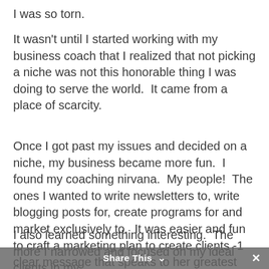I was so torn.
It wasn't until I started working with my business coach that I realized that not picking a niche was not this honorable thing I was doing to serve the world.  It came from a place of scarcity.
Once I got past my issues and decided on a niche, my business became more fun.  I found my coaching nirvana.  My people!  The ones I wanted to write newsletters to, write blogging posts for, create programs for and market exclusively to.  It was easier and fun to craft a marketing plan to create clients -1 clear message that speaks to her greatest pain.
I also learned something interesting.  The more I narrowed and focused on my ideal clients in my
Share This